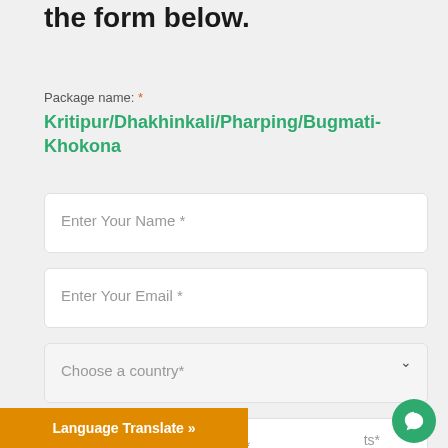the form below.
Package name: *
Kritipur/Dhakhinkali/Pharping/Bugmati-Khokona
Enter Your Name *
Enter Your Email *
Choose a country*
Enter Your Contact Number*
Language Translate »
ts*